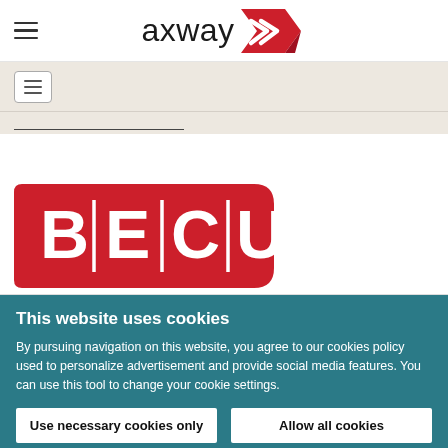[Figure (logo): Axway logo with hamburger menu icon on the left and the axway wordmark with red arrow icon on the right]
[Figure (screenshot): Secondary navigation bar with hamburger/menu icon in a bordered box, and a search underline below]
[Figure (logo): BECU logo — red rounded rectangle with white letters B|E|C|U]
This website uses cookies
By pursuing navigation on this website, you agree to our cookies policy used to personalize advertisement and provide social media features. You can use this tool to change your cookie settings.
Use necessary cookies only
Allow all cookies
Settings